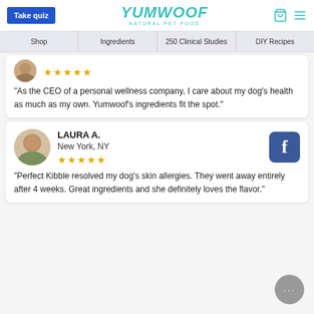Take quiz | YUMWOOF NATURAL PET FOOD
Shop | Ingredients | 250 Clinical Studies | DIY Recipes
★★★★★
"As the CEO of a personal wellness company, I care about my dog's health as much as my own. Yumwoof's ingredients fit the spot."
LAURA A.
New York, NY
★★★★★
"Perfect Kibble resolved my dog's skin allergies. They went away entirely after 4 weeks. Great ingredients and she definitely loves the flavor."